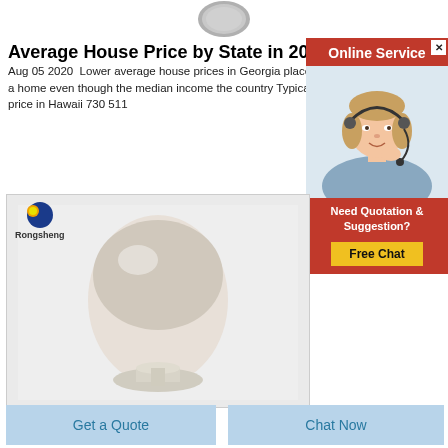[Figure (photo): Partial view of a coin at top of page]
Average House Price by State in 2021
Aug 05 2020  Lower average house prices in Georgia place to own a home even though the median income the country Typical home price in Hawaii 730 511
[Figure (infographic): Online Service advertisement panel with red background, photo of woman with headset, and Free Chat button]
[Figure (photo): Rongsheng branded product photo showing a white/grey powder in a glass vessel on pedestal]
Get a Quote
Chat Now